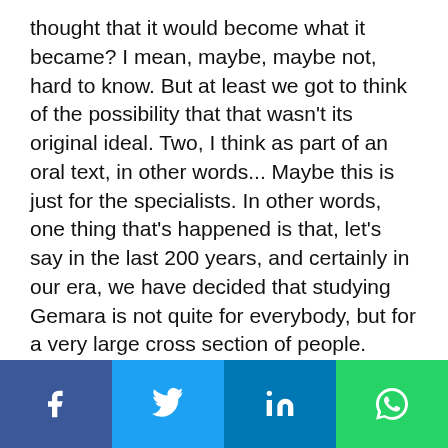thought that it would become what it became? I mean, maybe, maybe not, hard to know. But at least we got to think of the possibility that that wasn't its original ideal. Two, I think as part of an oral text, in other words... Maybe this is just for the specialists. In other words, one thing that's happened is that, let's say in the last 200 years, and certainly in our era, we have decided that studying Gemara is not quite for everybody, but for a very large cross section of people.
David Bashevkin:
Social share bar: Facebook, Twitter, LinkedIn, WhatsApp